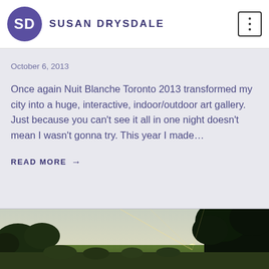SD SUSAN DRYSDALE
October 6, 2013
Once again Nuit Blanche Toronto 2013 transformed my city into a huge, interactive, indoor/outdoor art gallery. Just because you can't see it all in one night doesn't mean I wasn't gonna try. This year I made…
READ MORE →
[Figure (photo): Outdoor landscape photo showing a field of green vegetation and trees with a bright sunburst/sunset light shining through the trees on the right side against a light sky.]